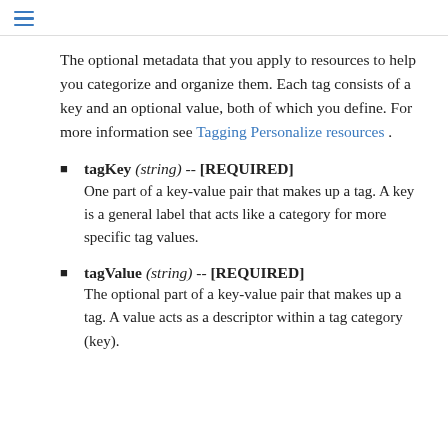≡
The optional metadata that you apply to resources to help you categorize and organize them. Each tag consists of a key and an optional value, both of which you define. For more information see Tagging Personalize resources .
tagKey (string) -- [REQUIRED] One part of a key-value pair that makes up a tag. A key is a general label that acts like a category for more specific tag values.
tagValue (string) -- [REQUIRED] The optional part of a key-value pair that makes up a tag. A value acts as a descriptor within a tag category (key).